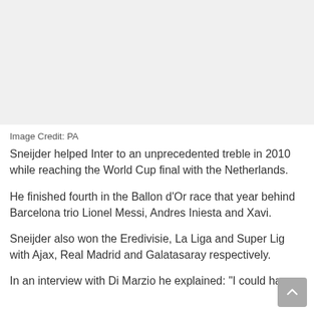[Figure (photo): Empty/white image area placeholder at top of page]
Image Credit: PA
Sneijder helped Inter to an unprecedented treble in 2010 while reaching the World Cup final with the Netherlands.
He finished fourth in the Ballon d’Or race that year behind Barcelona trio Lionel Messi, Andres Iniesta and Xavi.
Sneijder also won the Eredivisie, La Liga and Super Lig with Ajax, Real Madrid and Galatasaray respectively.
In an interview with Di Marzio he explained: “I could have